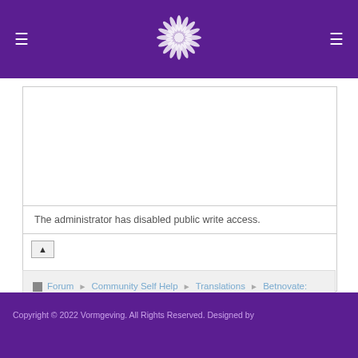Vormgeving website header with logo and navigation
The administrator has disabled public write access.
[Figure (screenshot): Upload/attachment button area]
Forum ▶ Community Self Help ▶ Translations ▶ Betnovate: Pills Saturday Delivery Glasgow
[Figure (illustration): RSS feed icon (orange)]
Time to create page: 0.052 seconds
Powered by Kunena Forum
Copyright © 2022 Vormgeving. All Rights Reserved. Designed by